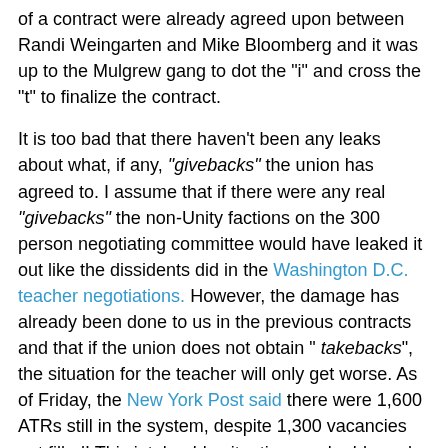of a contract were already agreed upon between Randi Weingarten and Mike Bloomberg and it was up to the Mulgrew gang to dot the "i" and cross the "t" to finalize the contract.
It is too bad that there haven't been any leaks about what, if any, "givebacks" the union has agreed to. I assume that if there were any real "givebacks" the non-Unity factions on the 300 person negotiating committee would have leaked it out like the dissidents did in the Washington D.C. teacher negotiations. However, the damage has already been done to us in the previous contracts and that if the union does not obtain " takebacks", the situation for the teacher will only get worse. As of Friday, the New York Post said there were 1,600 ATRs still in the system, despite 1,300 vacancies not filled! This intolerable situation can be blamed on the previously negotiated contracts that eliminated seniority transfer and the placing of excessed teachers before hiring "newbie teachers". I hope the union has learned their lesson and requires that all ATRs be placed before "newbie teachers" can be hired.